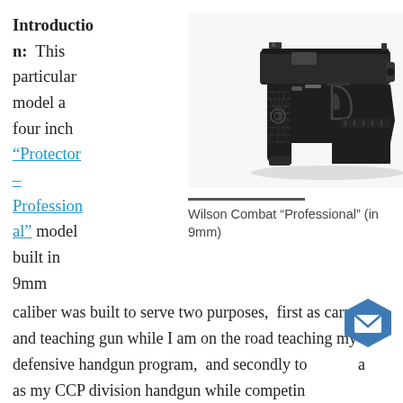Introduction: This particular model a four inch "Protector – Professional" model built in 9mm caliber was built to serve two purposes, first as carry and teaching gun while I am on the road teaching my defensive handgun program, and secondly to serve as my CCP division handgun while competing in I.D.P.A. A bit of history may be in order for those of
[Figure (photo): Black semi-automatic pistol (Wilson Combat Professional in 9mm) photographed from a slight angle against white background]
Wilson Combat “Professional” (in 9mm)